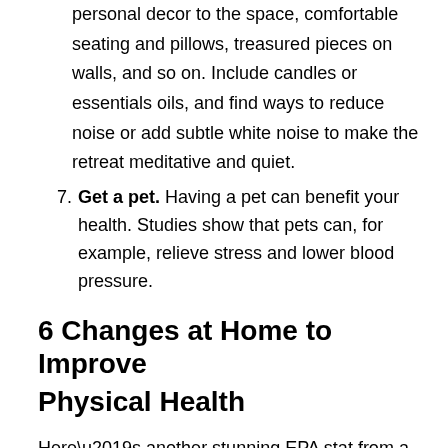personal decor to the space, comfortable seating and pillows, treasured pieces on walls, and so on. Include candles or essentials oils, and find ways to reduce noise or add subtle white noise to make the retreat meditative and quiet.
7. Get a pet. Having a pet can benefit your health. Studies show that pets can, for example, relieve stress and lower blood pressure.
6 Changes at Home to Improve Physical Health
Here’s another stunning EPA stat from a recent study. It found that “concentrations of some [indoor] pollutants are often 2 to 5 times higher than typical outdoor